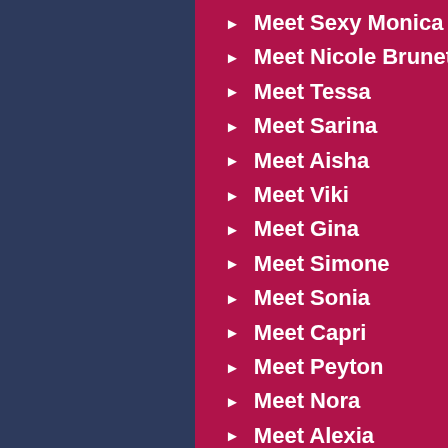Meet Sexy Monica
Meet Nicole Brunette
Meet Tessa
Meet Sarina
Meet Aisha
Meet Viki
Meet Gina
Meet Simone
Meet Sonia
Meet Capri
Meet Peyton
Meet Nora
Meet Alexia
Meet Camilla